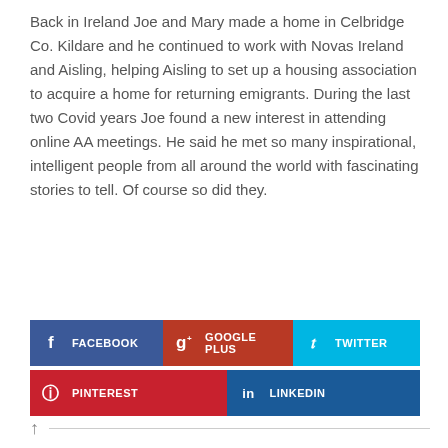Back in Ireland Joe and Mary made a home in Celbridge Co. Kildare and he continued to work with Novas Ireland and Aisling, helping Aisling to set up a housing association to acquire a home for returning emigrants. During the last two Covid years Joe found a new interest in attending online AA meetings. He said he met so many inspirational, intelligent people from all around the world with fascinating stories to tell. Of course so did they.
[Figure (infographic): Social sharing buttons row 1: Facebook (dark blue), Google Plus (dark red), Twitter (cyan); row 2: Pinterest (red), LinkedIn (dark blue)]
↑